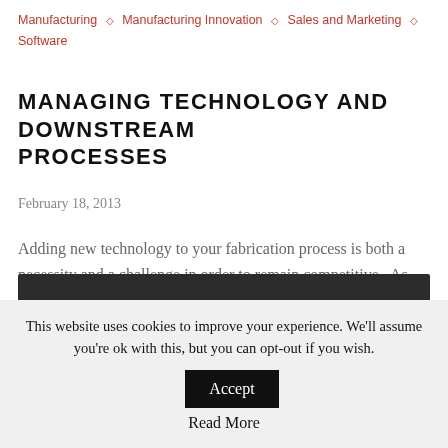Manufacturing ◇ Manufacturing Innovation ◇ Sales and Marketing ◇ Software
MANAGING TECHNOLOGY AND DOWNSTREAM PROCESSES
February 18, 2013
Adding new technology to your fabrication process is both a necessity and a challenge in order to remain competitive.  As many of you know, the advent of high-speed Fiber Lasers…
[Figure (photo): Dark/black rectangular banner image]
This website uses cookies to improve your experience. We'll assume you're ok with this, but you can opt-out if you wish.
Accept
Read More